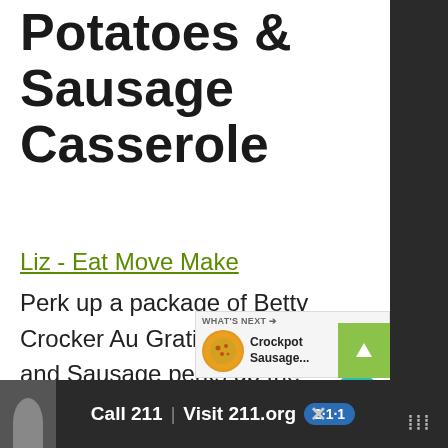Potatoes & Sausage Casserole
Liz - Eat Move Make
Perk up a package of Betty Crocker Au Gratin Potatoes and Sausage perks up the classic potatoes and turns it into the ultimate breakfast casserole.
[Figure (screenshot): UI overlay showing 'WHAT'S NEXT' with Crockpot Sausage... thumbnail and heart/share icons on right sidebar]
[Figure (screenshot): Bottom advertisement bar with person photo, 'Call 211 | Visit 211.org' and 211 badge logo]
[Figure (screenshot): Right dark panel with close X and dots/menu icon]